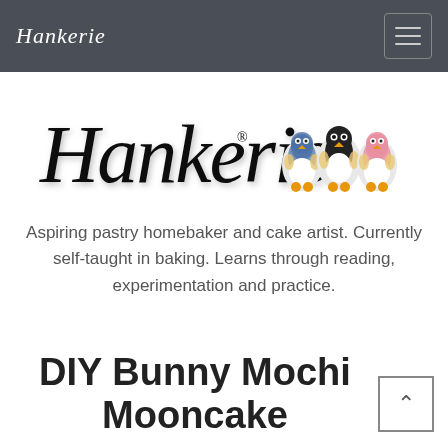Hankerie
[Figure (logo): Hankerie cursive logo with registered trademark symbol and three penguin figurines (blue, black, pink) to the right]
Aspiring pastry homebaker and cake artist. Currently self-taught in baking. Learns through reading, experimentation and practice.
DIY Bunny Mochi Mooncake